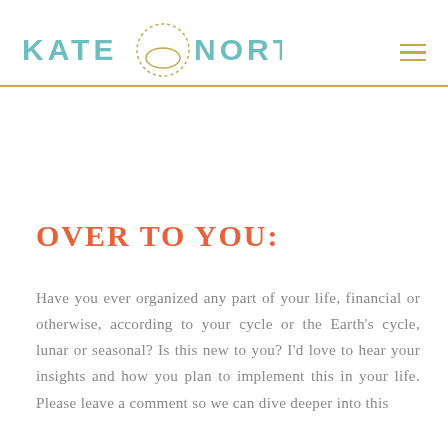KATE NORTHRUP
OVER TO YOU:
Have you ever organized any part of your life, financial or otherwise, according to your cycle or the Earth's cycle, lunar or seasonal? Is this new to you? I'd love to hear your insights and how you plan to implement this in your life. Please leave a comment so we can dive deeper into this